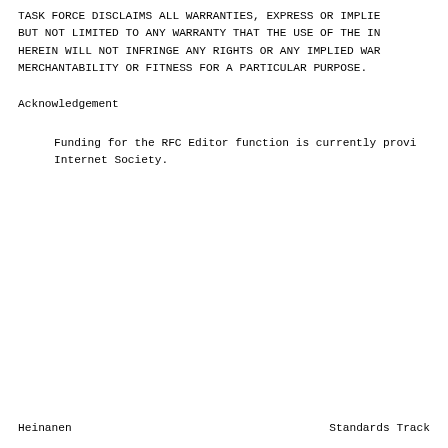TASK FORCE DISCLAIMS ALL WARRANTIES, EXPRESS OR IMPLIED,
BUT NOT LIMITED TO ANY WARRANTY THAT THE USE OF THE IN-
HEREIN WILL NOT INFRINGE ANY RIGHTS OR ANY IMPLIED WAR-
MERCHANTABILITY OR FITNESS FOR A PARTICULAR PURPOSE.
Acknowledgement
Funding for the RFC Editor function is currently provi-
Internet Society.
Heinanen                        Standards Track